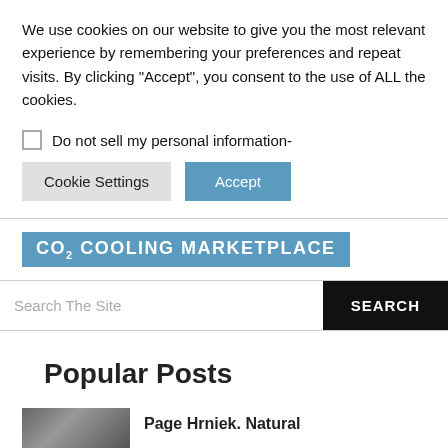We use cookies on our website to give you the most relevant experience by remembering your preferences and repeat visits. By clicking “Accept”, you consent to the use of ALL the cookies.
Do not sell my personal information-
Cookie Settings | Accept
CO₂ COOLING MARKETPLACE
Search The Site
Popular Posts
Page Hrniek. Natural